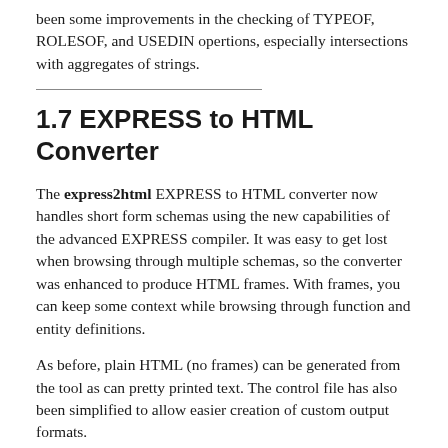been some improvements in the checking of TYPEOF, ROLESOF, and USEDIN opertions, especially intersections with aggregates of strings.
1.7 EXPRESS to HTML Converter
The express2html EXPRESS to HTML converter now handles short form schemas using the new capabilities of the advanced EXPRESS compiler. It was easy to get lost when browsing through multiple schemas, so the converter was enhanced to produce HTML frames. With frames, you can keep some context while browsing through function and entity definitions.
As before, plain HTML (no frames) can be generated from the tool as can pretty printed text. The control file has also been simplified to allow easier creation of custom output formats.
1.8 AP-203 Conformance Checking Tool